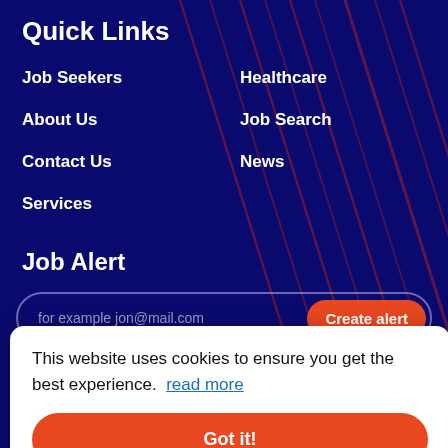Quick Links
Job Seekers
About Us
Contact Us
Services
Healthcare
Job Search
News
Job Alert
for example jon@mail.com
Create alert
This website uses cookies to ensure you get the best experience. read more
Got it!